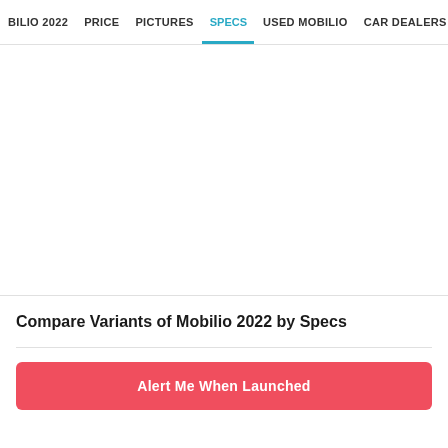BILIO 2022  PRICE  PICTURES  SPECS  USED MOBILIO  CAR DEALERS
Compare Variants of Mobilio 2022 by Specs
Alert Me When Launched